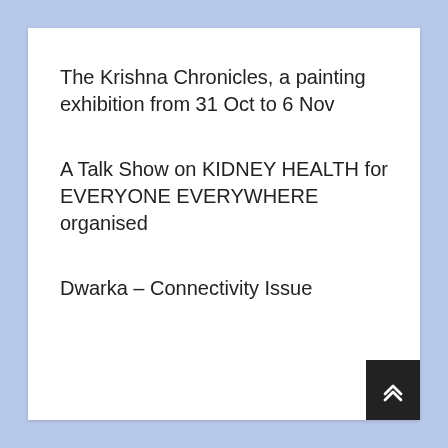The Krishna Chronicles, a painting exhibition from 31 Oct to 6 Nov
A Talk Show on KIDNEY HEALTH for EVERYONE EVERYWHERE organised
Dwarka – Connectivity Issue